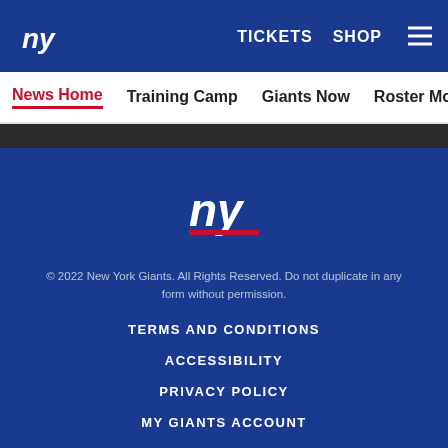New York Giants website header with logo, TICKETS, SHOP, and hamburger menu
News Home | Training Camp | Giants Now | Roster Moves | Fact o...
[Figure (logo): New York Giants logo (ny) in white on blue background in footer]
© 2022 New York Giants. All Rights Reserved. Do not duplicate in any form without permission.
TERMS AND CONDITIONS
ACCESSIBILITY
PRIVACY POLICY
MY GIANTS ACCOUNT
[Figure (illustration): Social media icons: Facebook, Twitter, Email, Link]